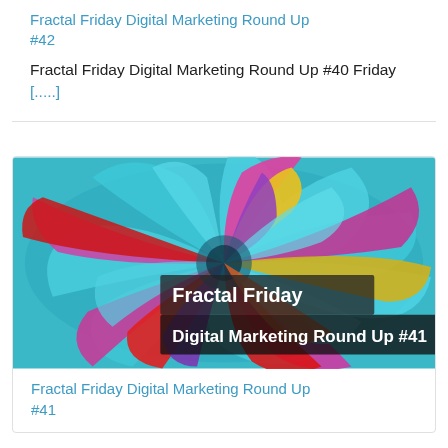Fractal Friday Digital Marketing Round Up #42
Fractal Friday Digital Marketing Round Up #40 Friday [.....]
[Figure (photo): Fractal swirl image with colorful petals in teal, pink, red, yellow and purple. Text overlay reads: Fractal Friday Digital Marketing Round Up #41]
Fractal Friday Digital Marketing Round Up #41